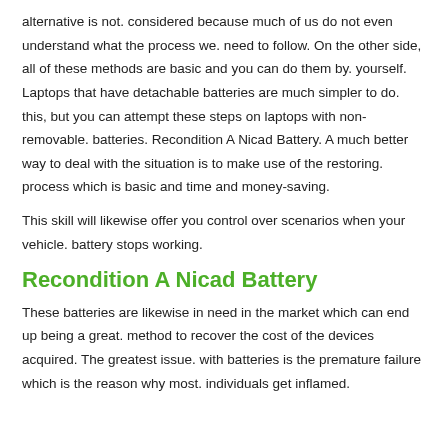alternative is not. considered because much of us do not even understand what the process we. need to follow. On the other side, all of these methods are basic and you can do them by. yourself. Laptops that have detachable batteries are much simpler to do. this, but you can attempt these steps on laptops with non-removable. batteries. Recondition A Nicad Battery. A much better way to deal with the situation is to make use of the restoring. process which is basic and time and money-saving.
This skill will likewise offer you control over scenarios when your vehicle. battery stops working.
Recondition A Nicad Battery
These batteries are likewise in need in the market which can end up being a great. method to recover the cost of the devices acquired. The greatest issue. with batteries is the premature failure which is the reason why most. individuals get inflamed.